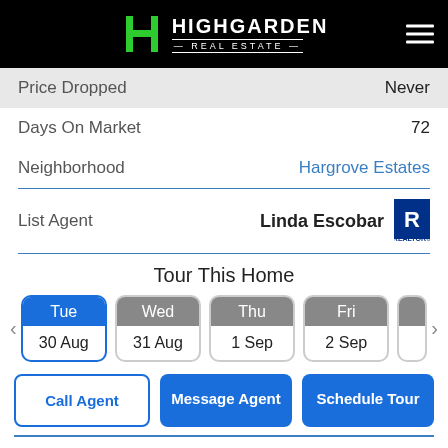[Figure (logo): Highgarden Real Estate logo with green H icon on black background]
Price Dropped	Never
Days On Market	72
Neighborhood	Hargrove Estates
List Agent	Linda Escobar
Tour This Home
Tue 30 Aug | Wed 31 Aug | Thu 1 Sep | Fri 2 Sep
Call Agent | Message Agent | Schedule Tour